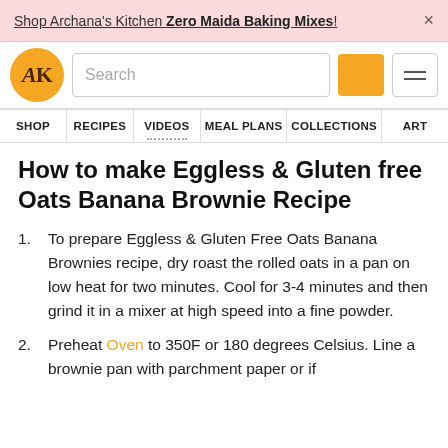Shop Archana's Kitchen Zero Maida Baking Mixes! ×
[Figure (logo): AK logo circle in orange with stylized AK letters]
How to make Eggless & Gluten free Oats Banana Brownie Recipe
1. To prepare Eggless & Gluten Free Oats Banana Brownies recipe, dry roast the rolled oats in a pan on low heat for two minutes. Cool for 3-4 minutes and then grind it in a mixer at high speed into a fine powder.
2. Preheat Oven to 350F or 180 degrees Celsius. Line a brownie pan with parchment paper or if